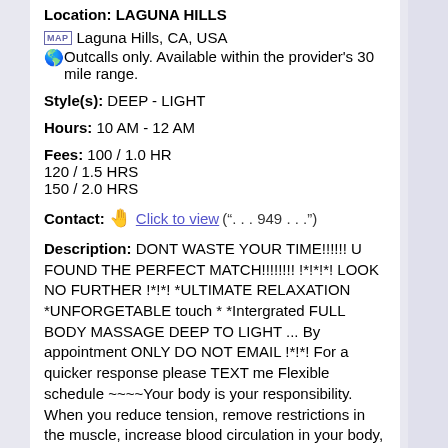Location: LAGUNA HILLS
MAP  Laguna Hills, CA, USA
Outcalls only. Available within the provider's 30 mile range.
Style(s): DEEP - LIGHT
Hours: 10 AM - 12 AM
Fees: 100 / 1.0 HR
120 / 1.5 HRS
150 / 2.0 HRS
Contact: Click to view ("...949...")
Description: DONT WASTE YOUR TIME!!!!!! U FOUND THE PERFECT MATCH!!!!!!!! !*!*!*! LOOK NO FURTHER !*!*! *ULTIMATE RELAXATION *UNFORGETABLE touch * *Intergrated FULL BODY MASSAGE DEEP TO LIGHT ... By appointment ONLY DO NOT EMAIL !*!*! For a quicker response please TEXT me Flexible schedule ~~~~Your body is your responsibility. When you reduce tension, remove restrictions in the muscle, increase blood circulation in your body, and remove energy blockages that cause pain and ill health, you can experience the benefits of becoming more relaxed, balanced, and pain free, with me as you massage therapist in my wonderful low lit professional massage room with pro table and only the best massaging oils and lotions for you body